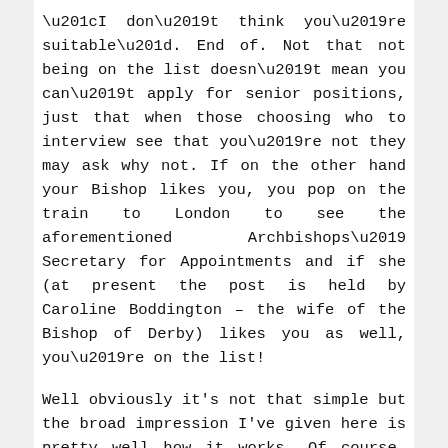“I don’t think you’re suitable”. End of. Not that not being on the list doesn’t mean you can’t apply for senior positions, just that when those choosing who to interview see that you’re not they may ask why not. If on the other hand your Bishop likes you, you pop on the train to London to see the aforementioned Archbishops’ Secretary for Appointments and if she (at present the post is held by Caroline Boddington – the wife of the Bishop of Derby) likes you as well, you’re on the list!
Well obviously it’s not that simple but the broad impression I’ve given here is pretty well how it works. Of course, one might want to ask what criteria a Bishop is looking for in order to